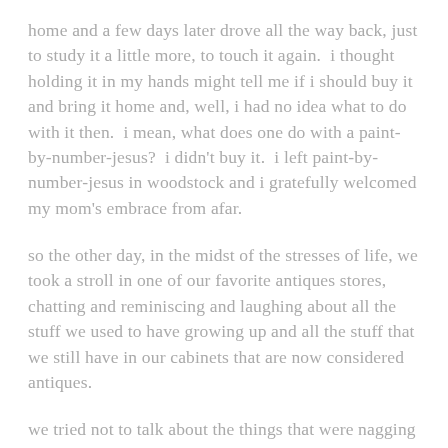home and a few days later drove all the way back, just to study it a little more, to touch it again.  i thought holding it in my hands might tell me if i should buy it and bring it home and, well, i had no idea what to do with it then.  i mean, what does one do with a paint-by-number-jesus?  i didn't buy it.  i left paint-by-number-jesus in woodstock and i gratefully welcomed my mom's embrace from afar.
so the other day, in the midst of the stresses of life, we took a stroll in one of our favorite antiques stores, chatting and reminiscing and laughing about all the stuff we used to have growing up and all the stuff that we still have in our cabinets that are now considered antiques.
we tried not to talk about the things that were nagging us, the things we are worried about, the things that seem insurmountable.
and my beloved sweet momma showed up.